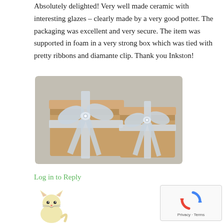Absolutely delighted! Very well made ceramic with interesting glazes – clearly made by a very good potter. The packaging was excellent and very secure. The item was supported in foam in a very strong box which was tied with pretty ribbons and diamante clip. Thank you Inkston!
[Figure (photo): Two brown kraft paper boxes tied with silver satin ribbons and bows with diamante clips, placed on a light grey carpet.]
Log in to Reply
[Figure (illustration): Small cartoon cat avatar icon in light yellow/beige color]
[Figure (logo): Google reCAPTCHA widget showing spinning arrows logo with 'Privacy · Terms' text below]